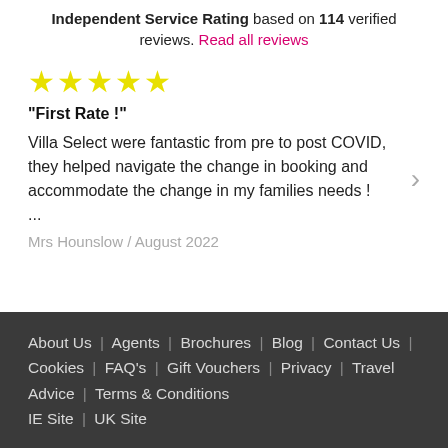Independent Service Rating based on 114 verified reviews. Read all reviews
[Figure (other): Five yellow star rating icons]
"First Rate !"
Villa Select were fantastic from pre to post COVID, they helped navigate the change in booking and accommodate the change in my families needs ! ...
Mrs Hounslow / August 2022
About Us | Agents | Brochures | Blog | Contact Us | Cookies | FAQ's | Gift Vouchers | Privacy | Travel Advice | Terms & Conditions IE Site | UK Site